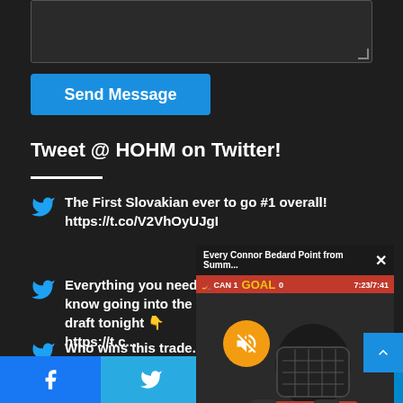[Figure (screenshot): Dark textarea input box for message composition]
Send Message
Tweet @ HOHM on Twitter!
The First Slovakian ever to go #1 overall! https://t.co/V2VhOyUJgI
2022/07/07
Everything you need to know going into the draft tonight 👇 https://t.c...
Who wins this trade...
See what he had to...
[Figure (screenshot): Video popup overlay showing Every Connor Bedard Point from Summ... with a hockey player wearing a helmet and a goal banner, with a mute button overlay]
[Figure (screenshot): Bottom social sharing bar with Facebook, Twitter, WhatsApp, and Telegram icons]